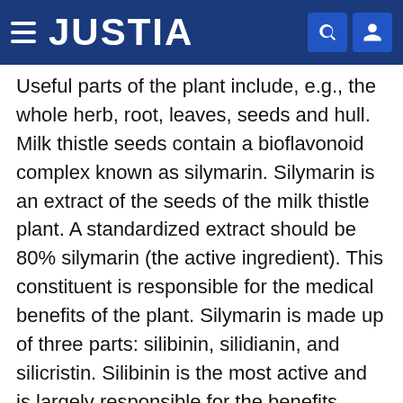JUSTIA
Useful parts of the plant include, e.g., the whole herb, root, leaves, seeds and hull. Milk thistle seeds contain a bioflavonoid complex known as silymarin. Silymarin is an extract of the seeds of the milk thistle plant. A standardized extract should be 80% silymarin (the active ingredient). This constituent is responsible for the medical benefits of the plant. Silymarin is made up of three parts: silibinin, silidianin, and silicristin. Silibinin is the most active and is largely responsible for the benefits attributed to silymarin. As with other bioflavonoids, silymarin is a powerful antioxidant. Milk thistle extract is useful to protect or reverse damage to liver cells from toxins (e.g., alcohol, drugs, pesticides, poisons), to promote the regeneration of liver cells, to prevent or treat liver disease (e.g., liver cirrhosis, chronic hepatitis, and diabetes due to cirrhosis), indigestion, and cancer. Silymarin's effect in preventing liver